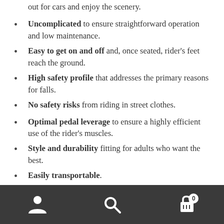out for cars and enjoy the scenery.
Uncomplicated to ensure straightforward operation and low maintenance.
Easy to get on and off and, once seated, rider's feet reach the ground.
High safety profile that addresses the primary reasons for falls.
No safety risks from riding in street clothes.
Optimal pedal leverage to ensure a highly efficient use of the rider's muscles.
Style and durability fitting for adults who want the best.
Easily transportable.
Stable to the point that it can be ridden with hands off the handlebars.